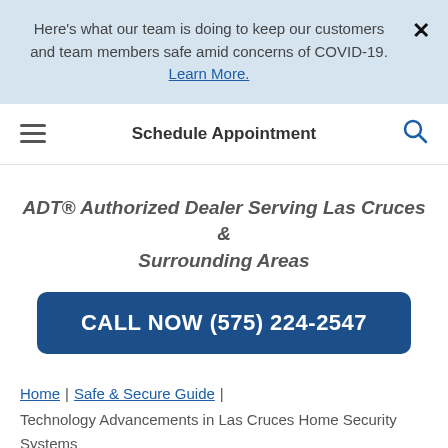Here's what our team is doing to keep our customers and team members safe amid concerns of COVID-19. Learn More.
Schedule Appointment
ADT® Authorized Dealer Serving Las Cruces & Surrounding Areas
CALL NOW (575) 224-2547
Home | Safe & Secure Guide | Technology Advancements in Las Cruces Home Security Systems